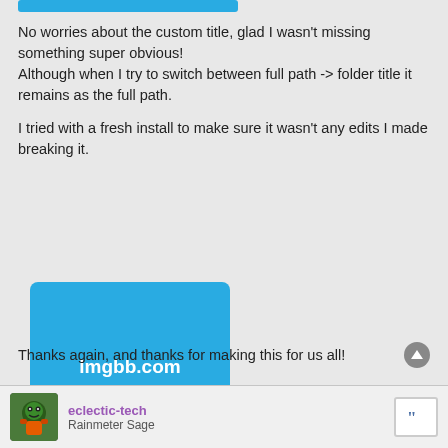[Figure (other): Blue button at top of page]
No worries about the custom title, glad I wasn't missing something super obvious!
Although when I try to switch between full path -> folder title it remains as the full path.

I tried with a fresh install to make sure it wasn't any edits I made breaking it.
[Figure (other): imgbb.com image not found placeholder — blue square with white text reading 'imgbb.com' and 'image not found']
Thanks again, and thanks for making this for us all!
eclectic-tech
Rainmeter Sage